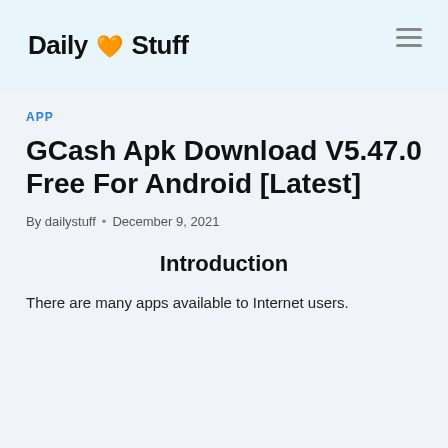Daily 2 Stuff
APP
GCash Apk Download V5.47.0 Free For Android [Latest]
By dailystuff • December 9, 2021
Introduction
There are many apps available to Internet users.